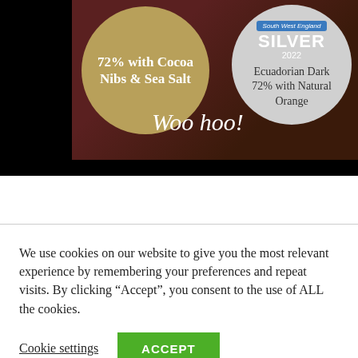[Figure (photo): Chocolate product advertisement showing two award badges: a gold circle badge reading '72% with Cocoa Nibs & Sea Salt' with handwritten 'Woo hoo!' text over cocoa beans background, and a silver circle badge reading 'South West England SILVER 2022 / Ecuadorian Dark 72% with Natural Orange']
We use cookies on our website to give you the most relevant experience by remembering your preferences and repeat visits. By clicking “Accept”, you consent to the use of ALL the cookies.
Cookie settings
ACCEPT